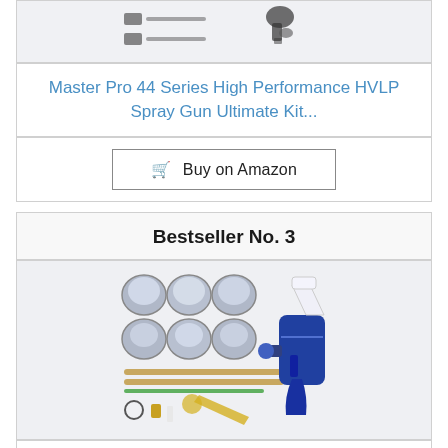[Figure (photo): Partial product image visible at top of page showing parts of a spray gun kit with component icons]
Master Pro 44 Series High Performance HVLP Spray Gun Ultimate Kit...
Buy on Amazon
Bestseller No. 3
[Figure (photo): HVLP spray gun kit product photo showing the blue spray gun with white cup, multiple nozzle caps, needles, and accessories on a light background]
HVLP Spray Gun with Replaceable 1.4mm 1.7mm